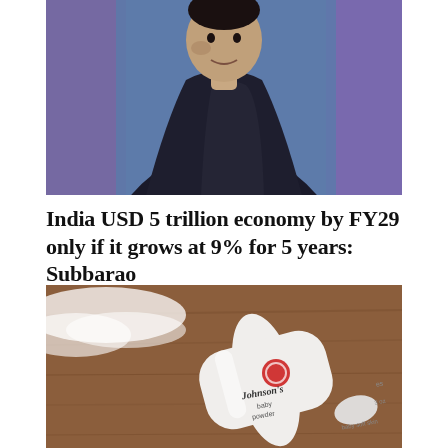[Figure (photo): A man in a dark suit photographed from behind/side, with blurred blue and purple background]
India USD 5 trillion economy by FY29 only if it grows at 9% for 5 years: Subbarao
[Figure (photo): A Johnson's baby powder bottle lying on a wooden surface with powder visible]